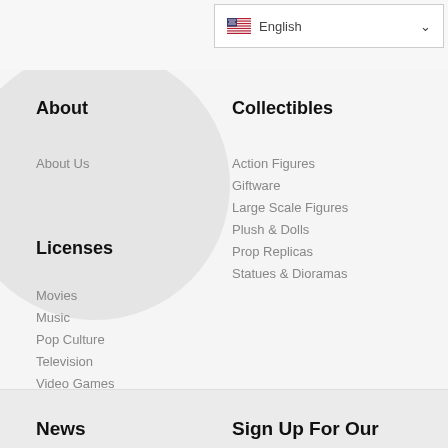[Figure (screenshot): Language selector dropdown showing US flag and English text with chevron]
About
About Us
Licenses
Movies
Music
Pop Culture
Television
Video Games
Collectibles
Action Figures
Giftware
Large Scale Figures
Plush & Dolls
Prop Replicas
Statues & Dioramas
News
Sign Up For Our